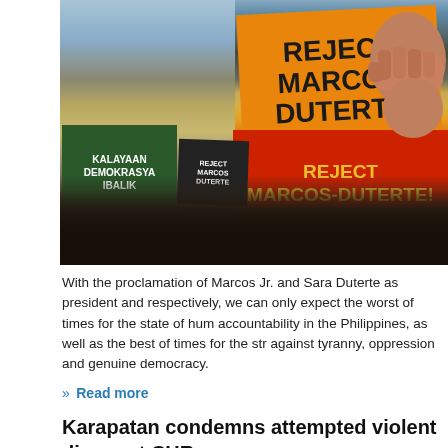[Figure (photo): Protest scene in the Philippines with crowds holding signs reading 'REJECT MARCOS DUTERTE' on orange and red placards, and 'KALAYAAN DEMOKRASYA IBALIK' on a green sign. A large illustrated fist is visible on the right. Power lines and a colonial-style building are in the background.]
With the proclamation of Marcos Jr. and Sara Duterte as president and respectively, we can only expect the worst of times for the state of hum accountability in the Philippines, as well as the best of times for the str against tyranny, oppression and genuine democracy.
» Read more
Karapatan condemns attempted violent disper at CHR